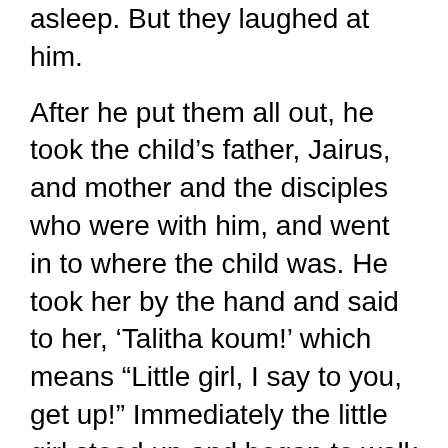asleep. But they laughed at him.
After he put them all out, he took the child’s father, Jairus, and mother and the disciples who were with him, and went in to where the child was. He took her by the hand and said to her, ‘Talitha koum!’ which means “Little girl, I say to you, get up!” Immediately the little girl stood up and began to walk around; she was 12 years old. At this they were completely astonished. He gave orders not to let anyone know about this and told them to give her something to eat.